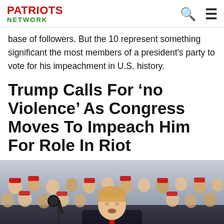PATRIOTS NETWORK
base of followers. But the 10 represent something significant the most members of a president's party to vote for his impeachment in U.S. history.
Trump Calls For ‘no Violence’ As Congress Moves To Impeach Him For Role In Riot
[Figure (photo): Donald Trump speaking at a rally with a large crowd of supporters in the background, many wearing red hats. Trump is at a podium with a microphone, wearing a dark suit and red tie.]